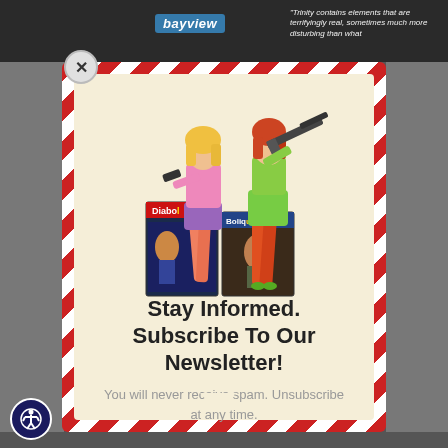bayview | "Trinity contains elements that are terrifyingly real, sometimes much more disturbing than what"
[Figure (illustration): Two illustrated women in vintage pulp style holding weapons, standing in front of two comic/magazine covers labeled 'Diabol' and 'Bolique']
Stay Informed. Subscribe To Our Newsletter!
You will never receive spam. Unsubscribe at any time.